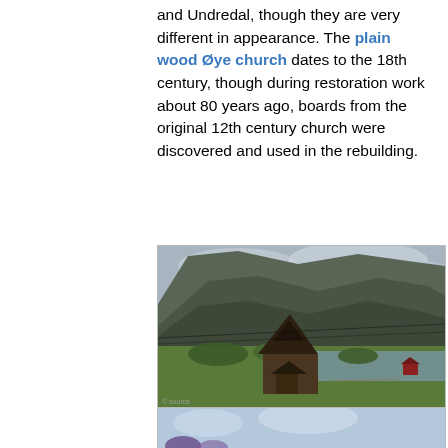and Undredal, though they are very different in appearance. The plain wood Øye church dates to the 18th century, though during restoration work about 80 years ago, boards from the original 12th century church were discovered and used in the rebuilding.
[Figure (photo): Photograph of a historic wooden stave church with steep dark roof, set in a green valley beside a lake, with dramatic rocky mountains behind under overcast sky. A small red building is visible in the background right. Photographer credit watermark visible bottom left.]
In Undredal the tiny 12th century church[^2] has space for only 40 worshipers. It has been extensively modernised, with little remaining of the original construction.
[Figure (photo): Partial view of another church photograph, cropped at bottom of page.]